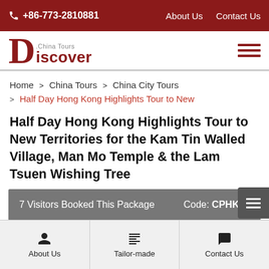+86-773-2810881   About Us   Contact Us
[Figure (logo): Discover China Tours logo with stylized D and text]
Home > China Tours > China City Tours > Half Day Hong Kong Highlights Tour to New
Half Day Hong Kong Highlights Tour to New Territories for the Kam Tin Walled Village, Man Mo Temple & the Lam Tsuen Wishing Tree
7 Visitors Booked This Package    Code: CPHK05
About Us   Tailor-made   Contact Us